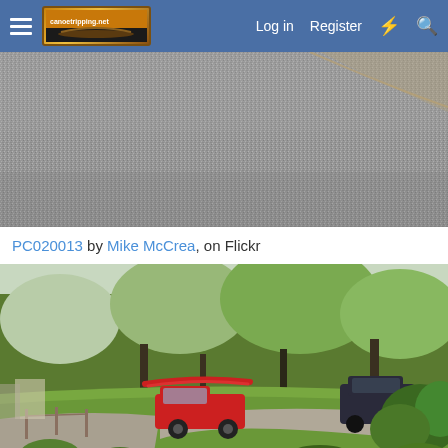Log in  Register
[Figure (photo): Aerial or close-up view of a gravel or asphalt surface, appearing gray with speckled texture, curved road or parking area edge visible at top right.]
PC020013 by Mike McCrea, on Flickr
[Figure (photo): Outdoor scene showing a rural property with a gravel driveway, green lawn, trees in background, a red pickup truck with a red canoe on the roof rack parked on the left, and a dark SUV/van on the right near a wooded area.]